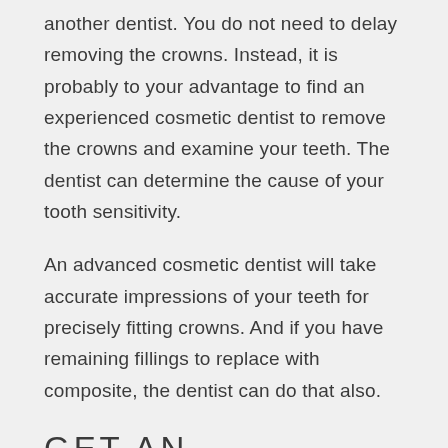another dentist. You do not need to delay removing the crowns. Instead, it is probably to your advantage to find an experienced cosmetic dentist to remove the crowns and examine your teeth. The dentist can determine the cause of your tooth sensitivity.
An advanced cosmetic dentist will take accurate impressions of your teeth for precisely fitting crowns. And if you have remaining fillings to replace with composite, the dentist can do that also.
GET AN INVISALIGN AND CROWNS